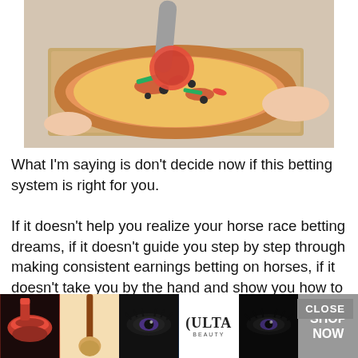[Figure (photo): Photo of a pizza being cut with a red pizza cutter on a wooden cutting board, with a person's hands visible]
What I'm saying is don't decide now if this betting system is right for you.
If it doesn't help you realize your horse race betting dreams, if it doesn't guide you step by step through making consistent earnings betting on horses, if it doesn't take you by the hand and show you how to quickly and easily succeed as a horse racing bettor – then I don't want your money … I'll give it all back.
Click on the Button Below for Instant Access to My Betting System and Tips.
[Figure (photo): Advertisement banner for ULTA beauty products showing lips with makeup, a makeup brush, eyes with eyeshadow, the ULTA logo, more eyes with makeup, with SHOP NOW button]